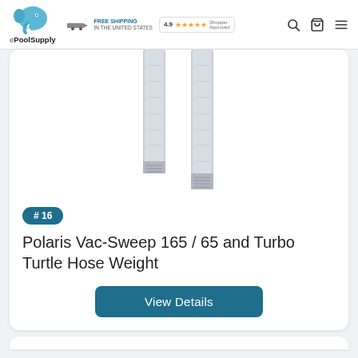ePoolSupply — FREE SHIPPING IN THE UNITED STATES — 4.9 stars Shopper Approved
[Figure (photo): Two silver/metallic flat hose weights for pool cleaner, photographed on white background]
# 16
Polaris Vac-Sweep 165 / 65 and Turbo Turtle Hose Weight
View Details